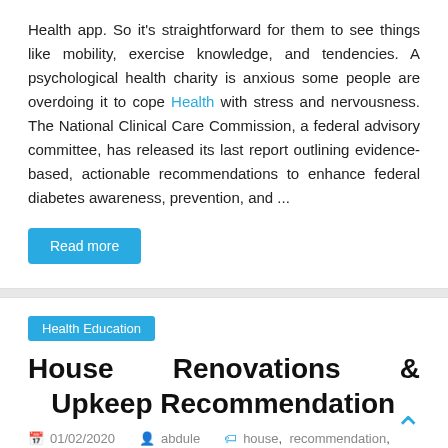Health app. So it's straightforward for them to see things like mobility, exercise knowledge, and tendencies. A psychological health charity is anxious some people are overdoing it to cope Health with stress and nervousness. The National Clinical Care Commission, a federal advisory committee, has released its last report outlining evidence-based, actionable recommendations to enhance federal diabetes awareness, prevention, and ...
Read more
Health Education
House Renovations & Upkeep Recommendation
01/02/2020   abdule   house, recommendation, renovations, upkeep